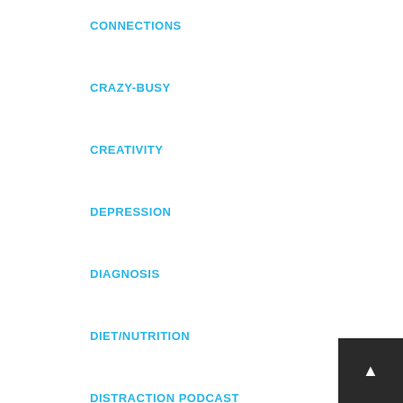CONNECTIONS
CRAZY-BUSY
CREATIVITY
DEPRESSION
DIAGNOSIS
DIET/NUTRITION
DISTRACTION PODCAST
DR. EDWARD HALLOWELL
DYSGRAPHIA
DYSLEXIA
EDUCATION
EMOTIONS
EXERCISE
FAMILY/RELATIONSHIPS
FEAR
FOCUS